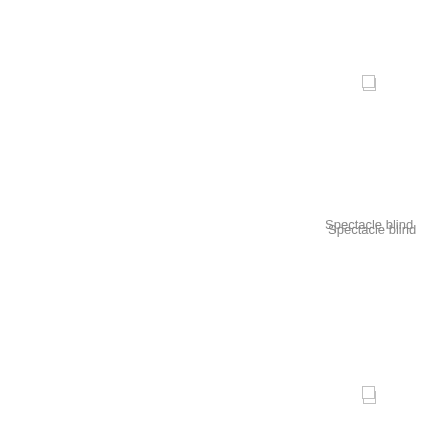[Figure (other): Small checkbox square icon near top right]
Spectacle blind
[Figure (other): Small checkbox square icon in middle right]
Ring joint
[Figure (other): Small checkbox square icon lower right]
Flange out let
1